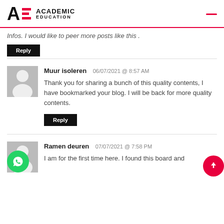ACADEMIC EDUCATION
Infos. I would like to peer more posts like this .
Reply
Muur isoleren  06/07/2021 @ 8:57 AM
Thank you for sharing a bunch of this quality contents, I have bookmarked your blog. I will be back for more quality contents.
Reply
Ramen deuren  07/07/2021 @ 7:58 PM
I am for the first time here. I found this board and